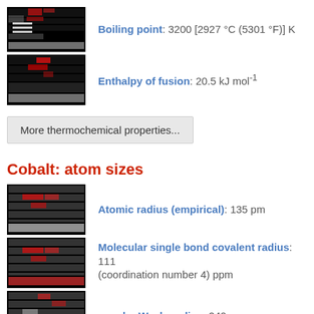Boiling point: 3200 [2927 °C (5301 °F)] K
Enthalpy of fusion: 20.5 kJ mol⁻¹
More thermochemical properties...
Cobalt: atom sizes
Atomic radius (empirical): 135 pm
Molecular single bond covalent radius: 111 (coordination number 4) ppm
van der Waals radius: 240 ppm
More atom size properties...